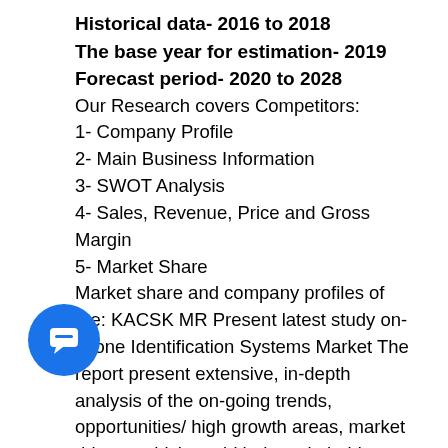Historical data- 2016 to 2018
The base year for estimation- 2019
Forecast period- 2020 to 2028
Our Research covers Competitors:
1- Company Profile
2- Main Business Information
3- SWOT Analysis
4- Sales, Revenue, Price and Gross Margin
5- Market Share
Market share and company profiles of the: KACSK MR Present latest study on- Drone Identification Systems Market The report present extensive, in-depth analysis of the on-going trends, opportunities/ high growth areas, market drivers, which could help stakeholders to device and align market strategies according to the future market dynamics.
... Contact us ...s, present, past and futuristic data which will offer as a profitable guide for all the readers and competitors. The